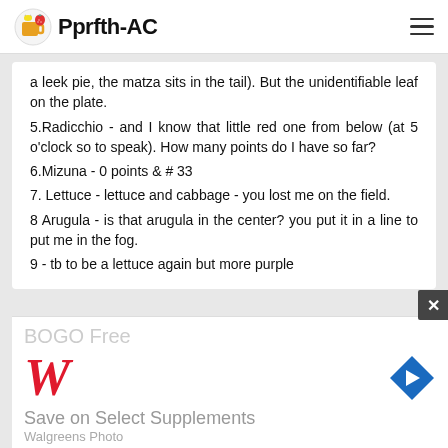Pprfth-AC
a leek pie, the matza sits in the tail). But the unidentifiable leaf on the plate.
5.Radicchio - and I know that little red one from below (at 5 o'clock so to speak). How many points do I have so far?
6.Mizuna - 0 points & # 33
7. Lettuce - lettuce and cabbage - you lost me on the field.
8 Arugula - is that arugula in the center? you put it in a line to put me in the fog.
9 - tb to be a lettuce again but more purple
[Figure (screenshot): Walgreens advertisement: BOGO Free, Walgreens W logo in red, blue diamond navigation icon, Save on Select Supplements, Walgreens Photo]